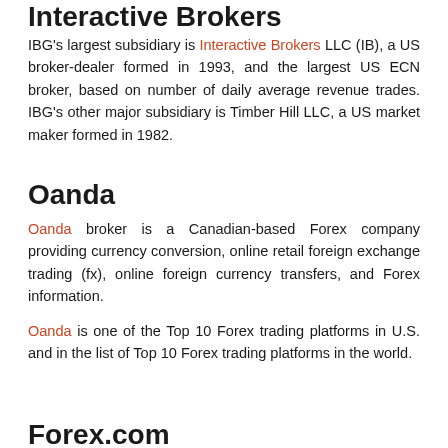Interactive Brokers
IBG's largest subsidiary is Interactive Brokers LLC (IB), a US broker-dealer formed in 1993, and the largest US ECN broker, based on number of daily average revenue trades. IBG's other major subsidiary is Timber Hill LLC, a US market maker formed in 1982.
Oanda
Oanda broker is a Canadian-based Forex company providing currency conversion, online retail foreign exchange trading (fx), online foreign currency transfers, and Forex information.
Oanda is one of the Top 10 Forex trading platforms in U.S. and in the list of Top 10 Forex trading platforms in the world.
Forex.com
The Forex.com broker Owned by parent company GAIN Capital . Operating since 1999, FOREX.com was a first mover in bringing currency markets to the retail trader.